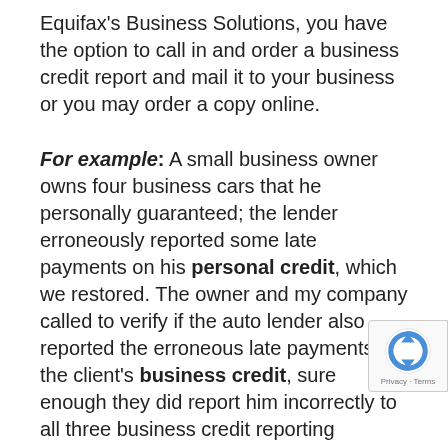Equifax’s Business Solutions, you have the option to call in and order a business credit report and mail it to your business or you may order a copy online.
For example: A small business owner owns four business cars that he personally guaranteed; the lender erroneously reported some late payments on his personal credit, which we restored. The owner and my company called to verify if the auto lender also reported the erroneous late payments to the client’s business credit, sure enough they did report him incorrectly to all three business credit reporting agencies. We prepared the disputes to Dunn and Bradstreet, Experian Business and Equifax Commercial Information’s Solutions and provided all three copies of the cancelled checks
[Figure (logo): reCAPTCHA badge with blue circular arrows icon and Privacy - Terms text]